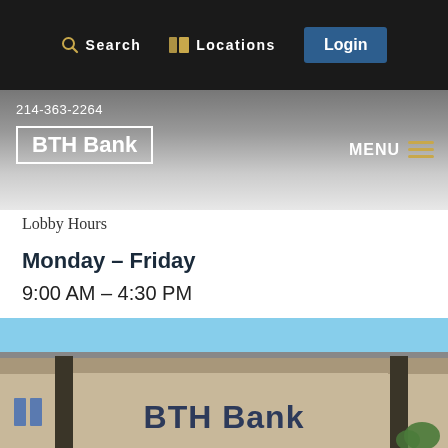Search  Locations  Login
BTH Bank
214-363-2264
Lobby Hours
Monday – Friday
9:00 AM – 4:30 PM
DALLAS
[Figure (photo): Exterior photo of a BTH Bank branch building with beige/tan facade and a large BTH Bank sign on the front, under a blue sky.]